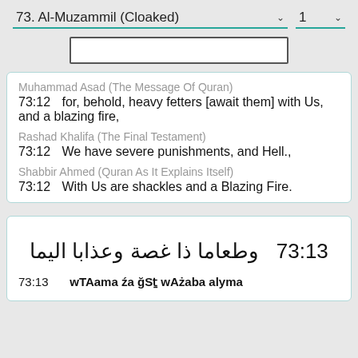73. Al-Muzammil (Cloaked)   1
Muhammad Asad (The Message Of Quran)
73:12   for, behold, heavy fetters [await them] with Us, and a blazing fire,
Rashad Khalifa (The Final Testament)
73:12   We have severe punishments, and Hell.,
Shabbir Ahmed (Quran As It Explains Itself)
73:12   With Us are shackles and a Blazing Fire.
73:13   وطعاما ذا غصة وعذابا اليما
73:13   wTAama źa ğSṯ wAżaba alyma